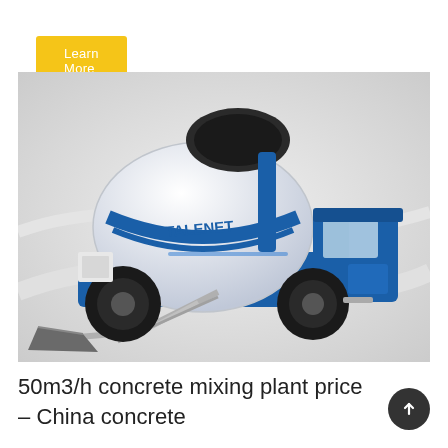Learn More
[Figure (photo): A white and blue TALENET self-loading concrete mixer truck with a rotating drum and front-loading bucket, viewed from the front-left angle on a light grey background.]
50m3/h concrete mixing plant price – China concrete